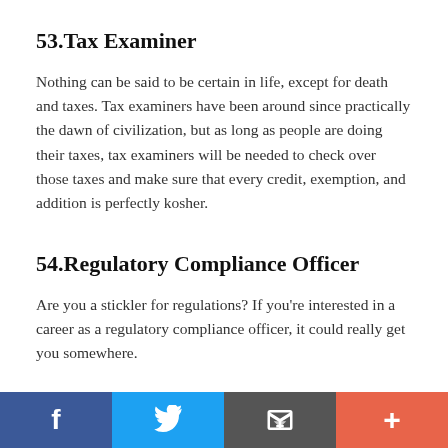53.Tax Examiner
Nothing can be said to be certain in life, except for death and taxes. Tax examiners have been around since practically the dawn of civilization, but as long as people are doing their taxes, tax examiners will be needed to check over those taxes and make sure that every credit, exemption, and addition is perfectly kosher.
54.Regulatory Compliance Officer
Are you a stickler for regulations? If you're interested in a career as a regulatory compliance officer, it could really get you somewhere.